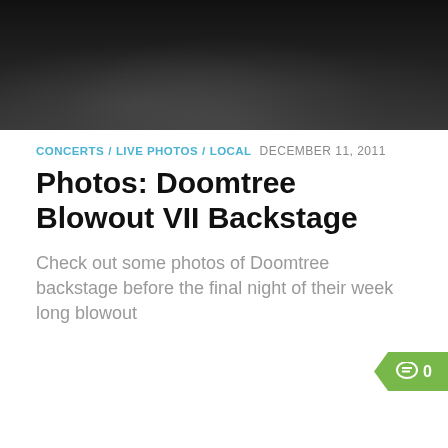[Figure (photo): Dark black and white photo of people backstage, silhouettes visible]
CONCERTS / LIVE PHOTOS / LOCAL  DECEMBER 11, 2011
Photos: Doomtree Blowout VII Backstage
Check out some photos of Doomtree backstage before the final night of their week long blowout